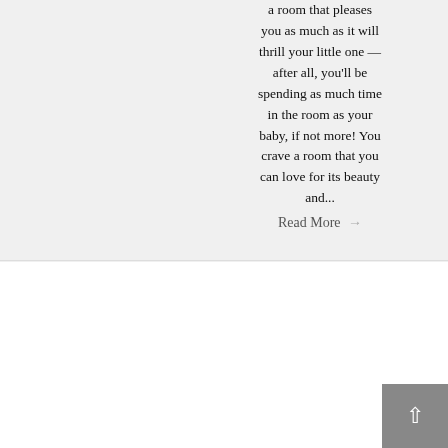a room that pleases you as much as it will thrill your little one — after all, you'll be spending as much time in the room as your baby, if not more! You crave a room that you can love for its beauty and...
Read More →
[Figure (photo): Hands holding colorful origami tulip flowers in pink, orange and green]
Spring Craft: Origami Tulip Bouquets
By Tracy Fisher | May 1, 2016